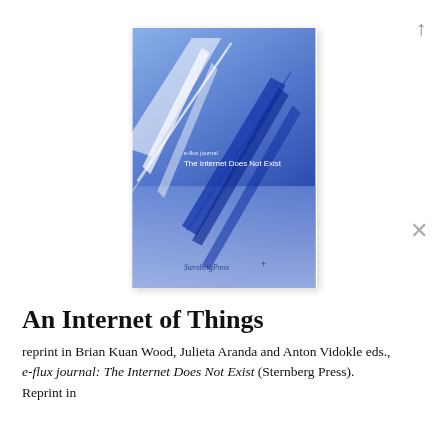[Figure (illustration): Book cover of 'e-flux journal: The Internet Does Not Exist' published by Sternberg Press. Blue gradient background with diagonal white and dark blue streaks/lines. Text reads 'e-flux journal' and 'The Internet Does Not Exist' in white. 'Sternberg Press' logo at the bottom.]
An Internet of Things
reprint in Brian Kuan Wood, Julieta Aranda and Anton Vidokle eds., e-flux journal: The Internet Does Not Exist (Sternberg Press). Reprint in